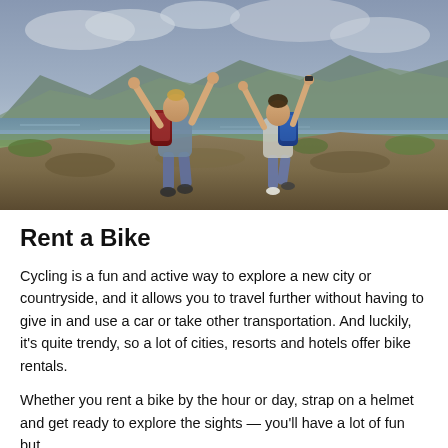[Figure (photo): Two hikers with backpacks viewed from behind, arms raised in celebration, standing on rocky outcrop with mountain lake and green hills in background under cloudy sky.]
Rent a Bike
Cycling is a fun and active way to explore a new city or countryside, and it allows you to travel further without having to give in and use a car or take other transportation. And luckily, it's quite trendy, so a lot of cities, resorts and hotels offer bike rentals.
Whether you rent a bike by the hour or day, strap on a helmet and get ready to explore the sights — you'll have a lot of fun but